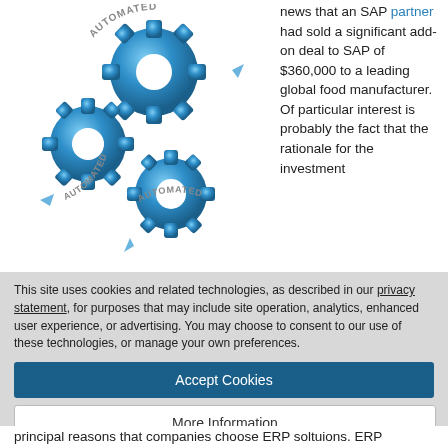[Figure (illustration): Three interlocking blue gear icons with arrows curved around them and the word AUTOMATED written on the arrows, arranged in a triangular cluster]
news that an SAP partner had sold a significant add-on deal to SAP of $360,000 to a leading global food manufacturer. Of particular interest is probably the fact that the rationale for the investment
This site uses cookies and related technologies, as described in our privacy statement, for purposes that may include site operation, analytics, enhanced user experience, or advertising. You may choose to consent to our use of these technologies, or manage your own preferences.
Accept Cookies
More Information
Privacy Policy | Powered by: TrustArc
principal reasons that companies choose ERP soltuions. ERP